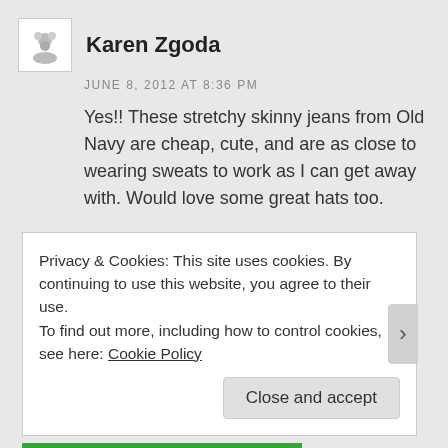Karen Zgoda
JUNE 8, 2012 AT 8:36 PM
Yes!! These stretchy skinny jeans from Old Navy are cheap, cute, and are as close to wearing sweats to work as I can get away with. Would love some great hats too.
Like
1 Vote
Privacy & Cookies: This site uses cookies. By continuing to use this website, you agree to their use.
To find out more, including how to control cookies, see here: Cookie Policy
Close and accept